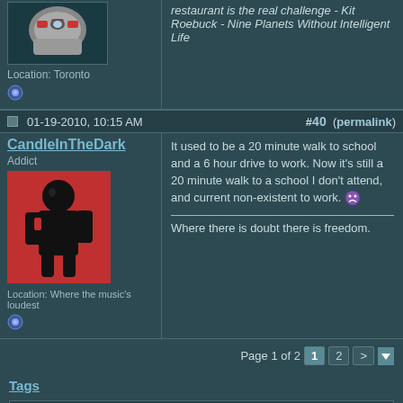restaurant is the real challenge - Kit Roebuck - Nine Planets Without Intelligent Life
Location: Toronto
01-19-2010, 10:15 AM  #40 (permalink)
CandleInTheDark
Addict
Location: Where the music's loudest
It used to be a 20 minute walk to school and a 6 hour drive to work. Now it's still a 20 minute walk to a school I don't attend, and current non-existent to work.

Where there is doubt there is freedom.
Page 1 of 2  1  2  >
Tags
drive, school, work
« Previous Thread | Next Thread »
Posting Rules